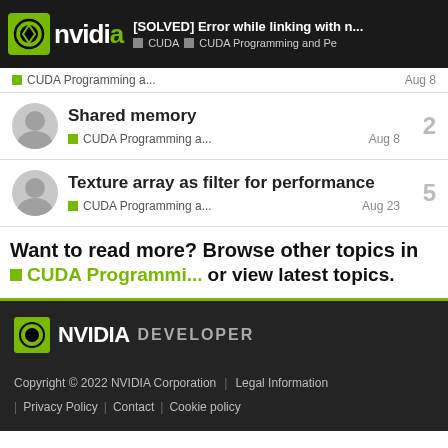[SOLVED] Error while linking with n... | CUDA | CUDA Programming and Pe
CUDA Programming a... Aug 8
Shared memory | 2 | CUDA Programming a... | Aug 8
Texture array as filter for performance | 5 | CUDA Programming a... | Aug 23
Want to read more? Browse other topics in CUDA Programmi... or view latest topics.
NVIDIA DEVELOPER | Copyright © 2022 NVIDIA Corporation | Legal Information | Privacy Policy | Contact | Cookie policy